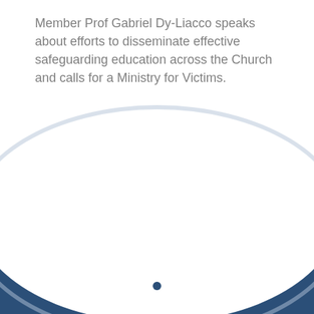Member Prof Gabriel Dy-Liacco speaks about efforts to disseminate effective safeguarding education across the Church and calls for a Ministry for Victims.
SEARCH
[Figure (screenshot): Search input field with Search button and dark blue footer section with curved white top boundary and a location pin icon at the bottom center.]